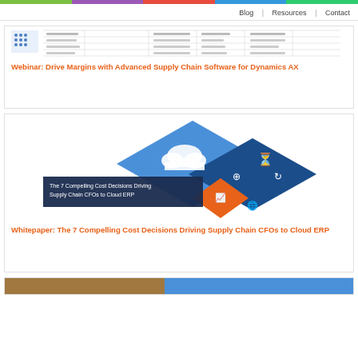Blog | Resources | Contact
[Figure (screenshot): Screenshot of a spreadsheet/table with rows and columns of data]
Webinar: Drive Margins with Advanced Supply Chain Software for Dynamics AX
[Figure (infographic): Infographic with diamond-shaped icons on blue background: cloud, hourglass, target, globe, chart, refresh icons. Text reads: The 7 Compelling Cost Decisions Driving Supply Chain CFOs to Cloud ERP]
Whitepaper: The 7 Compelling Cost Decisions Driving Supply Chain CFOs to Cloud ERP
[Figure (photo): Partial image visible at bottom of page]